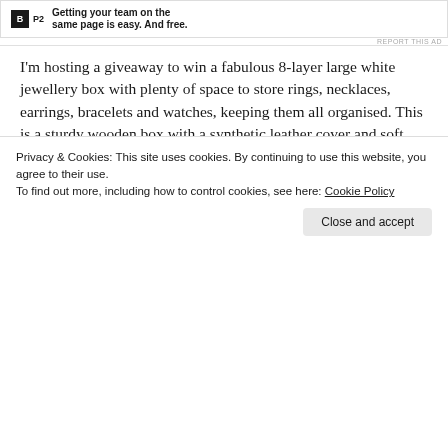[Figure (screenshot): Ad banner with P2 logo and text 'Getting your team on the same page is easy. And free.']
I'm hosting a giveaway to win a fabulous 8-layer large white jewellery box with plenty of space to store rings, necklaces, earrings, bracelets and watches, keeping them all organised. This is a sturdy wooden box with a synthetic leather cover and soft velvet lining, which currently retails on Amazon for £56.99.
[Figure (photo): Two white jewellery box trays with compartments containing pearl necklaces and gold jewellery pieces]
Privacy & Cookies: This site uses cookies. By continuing to use this website, you agree to their use.
To find out more, including how to control cookies, see here: Cookie Policy